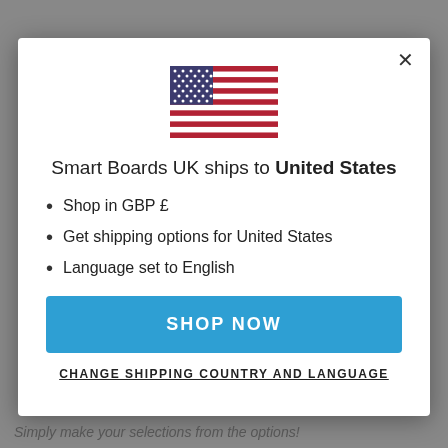[Figure (illustration): US flag SVG illustration centered in modal]
Smart Boards UK ships to United States
Shop in GBP £
Get shipping options for United States
Language set to English
SHOP NOW
CHANGE SHIPPING COUNTRY AND LANGUAGE
Simply make your selections from the options!